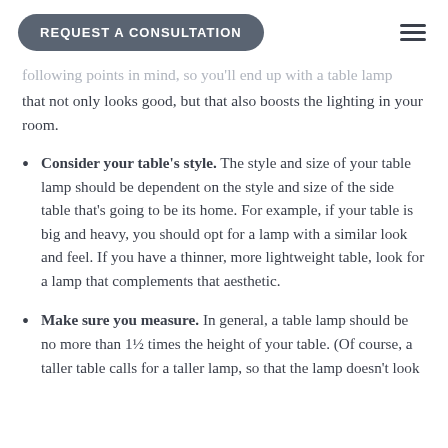REQUEST A CONSULTATION
following points in mind, so you'll end up with a table lamp that not only looks good, but that also boosts the lighting in your room.
Consider your table's style. The style and size of your table lamp should be dependent on the style and size of the side table that's going to be its home. For example, if your table is big and heavy, you should opt for a lamp with a similar look and feel. If you have a thinner, more lightweight table, look for a lamp that complements that aesthetic.
Make sure you measure. In general, a table lamp should be no more than 1½ times the height of your table. (Of course, a taller table calls for a taller lamp, so that the lamp doesn't look disproportionate.) When sitting next to the lamp, the bottom of the shade should be at eye level so that the light doesn't shine directly in your eyes.